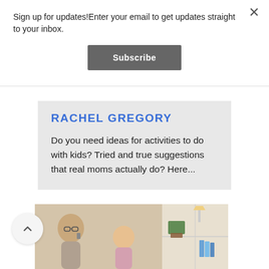Sign up for updates!Enter your email to get updates straight to your inbox.
Subscribe
RACHEL GREGORY
Do you need ideas for activities to do with kids? Tried and true suggestions that real moms actually do? Here...
[Figure (photo): Photo of a woman with glasses on the phone and a child, with a bookshelf in the background]